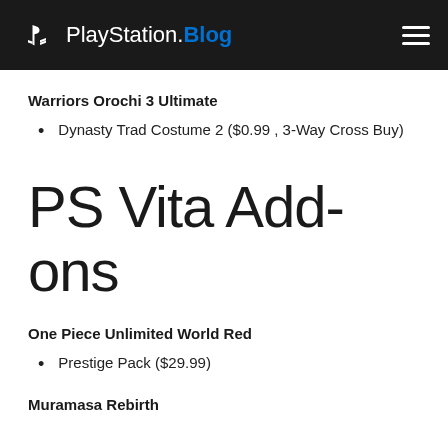PlayStation.Blog
Warriors Orochi 3 Ultimate
Dynasty Trad Costume 2 ($0.99 , 3-Way Cross Buy)
PS Vita Add-ons
One Piece Unlimited World Red
Prestige Pack ($29.99)
Muramasa Rebirth